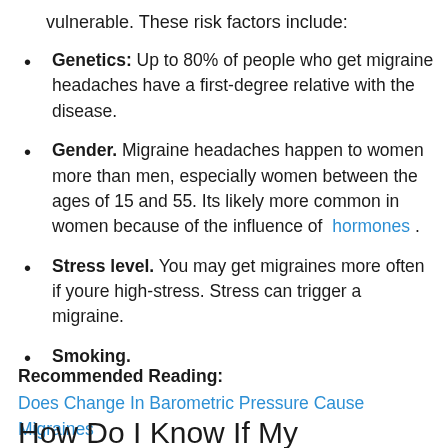vulnerable. These risk factors include:
Genetics: Up to 80% of people who get migraine headaches have a first-degree relative with the disease.
Gender. Migraine headaches happen to women more than men, especially women between the ages of 15 and 55. Its likely more common in women because of the influence of hormones.
Stress level. You may get migraines more often if youre high-stress. Stress can trigger a migraine.
Smoking.
Recommended Reading: Does Change In Barometric Pressure Cause Migraines
How Do I Know If My Headache Is